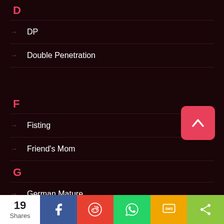D
DP
Double Penetration
F
Fisting
Friend's Mom
G
German Mature
19 Shares — social share bar with Facebook, Reddit, WhatsApp, SMS, Share icons